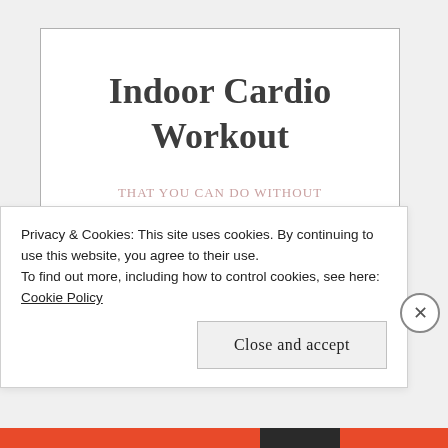Indoor Cardio Workout
THAT YOU CAN DO WITHOUT A TREADMILL OR ELLIPTICAL
Privacy & Cookies: This site uses cookies. By continuing to use this website, you agree to their use.
To find out more, including how to control cookies, see here: Cookie Policy
Close and accept